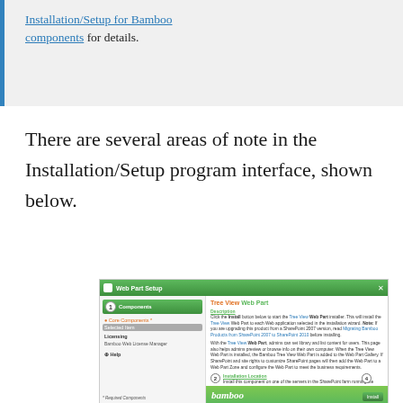Installation/Setup for Bamboo components for details.
There are several areas of note in the Installation/Setup program interface, shown below.
[Figure (screenshot): Screenshot of the Bamboo Web Part Setup installation/setup program interface showing a green title bar labeled 'Web Part Setup', left panel with numbered steps and Core Components, Licensing, and Help sections, and right panel showing component description, installation location, and required installation permissions sections.]